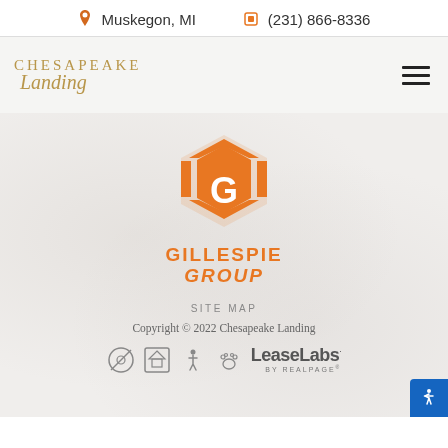Muskegon, MI    (231) 866-8336
[Figure (logo): Chesapeake Landing logo with stylized script]
[Figure (logo): Gillespie Group orange hexagon logo with G emblem and GILLESPIE GROUP text]
SITE MAP
Copyright © 2022 Chesapeake Landing
[Figure (logo): Housing compliance icons: no smoking, equal housing, accessible, pet friendly; LeaseLabs by RealPage logo]